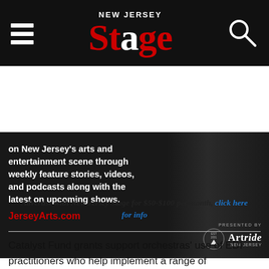NEW JERSEY Stage
[Figure (screenshot): Dark banner ad for JerseyArts.com showing text about New Jersey arts and entertainment coverage, presented by ArtsRide NJ]
Advertise with New Jersey Stage for $50-$100 per month, click here for info
Catalyst Fund grants support orchestras' use of EDI practitioners who help implement a range of organizational development activities involving